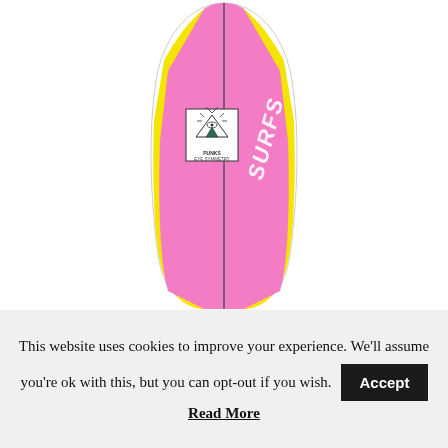[Figure (photo): A pink and yellow surfboard photographed from above, showing the deck. The board has a white outline/rail, yellow side stripes, a pink center section with a vertical dark stringer line, cursive white 'SURFS' text on the right side, and a square logo sticker featuring a pyramid, eye, and 'EYE SYMMETRY' text on the left upper area.]
This website uses cookies to improve your experience. We'll assume you're ok with this, but you can opt-out if you wish. Accept Read More